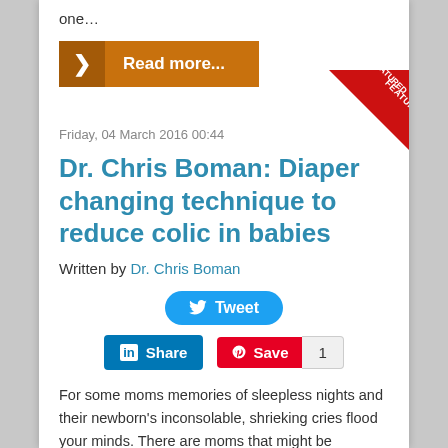one…
[Figure (other): Orange 'Read more...' button with arrow chevron on left]
[Figure (other): Red 'FEATURED' corner badge/ribbon]
Friday, 04 March 2016 00:44
Dr. Chris Boman: Diaper changing technique to reduce colic in babies
Written by Dr. Chris Boman
[Figure (other): Twitter Tweet button (blue rounded)]
[Figure (other): LinkedIn Share button and Pinterest Save button with count 1]
For some moms memories of sleepless nights and their newborn's inconsolable, shrieking cries flood your minds. There are moms that might be reminded feeling helpless and hopeless as their precious baby tries to communicate their discomfort. Maybe you